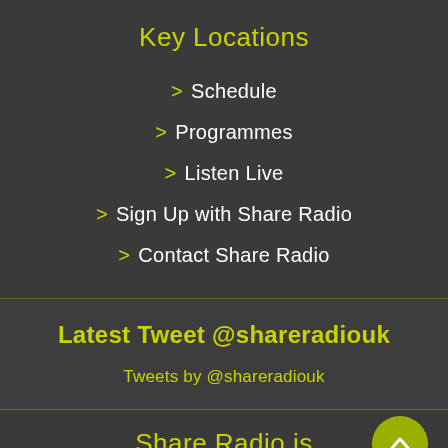Key Locations
> Schedule
> Programmes
> Listen Live
> Sign Up with Share Radio
> Contact Share Radio
Latest Tweet @shareradiouk
Tweets by @shareradiouk
Share Radio is